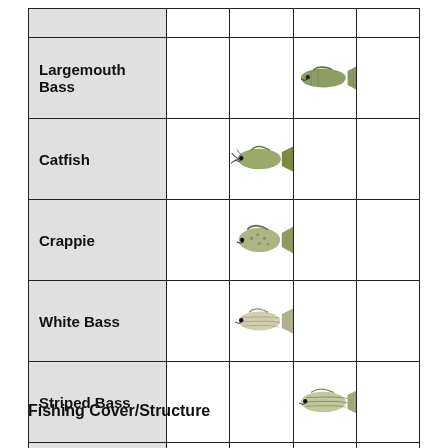|  | Col1 | Col2 | Col3 | Col4 |
| --- | --- | --- | --- | --- |
| Largemouth Bass |  |  | [fish image] |  |
| Catfish |  | [fish image] |  |  |
| Crappie |  | [fish image] |  |  |
| White Bass |  | [fish image] |  |  |
| Striped Bass |  |  | [fish image] |  |
| Sunfish | [fish image] |  |  |  |
Fishing Cover/Structure